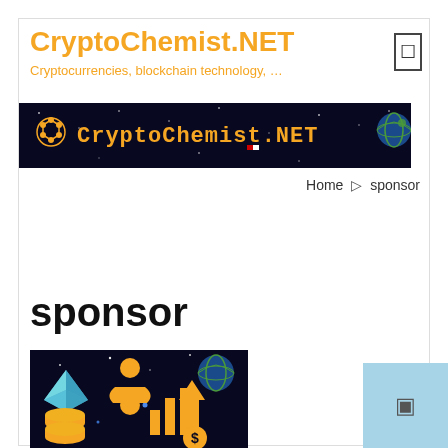CryptoChemist.NET
Cryptocurrencies, blockchain technology, …
[Figure (logo): CryptoChemist.NET banner on dark starfield background with hexagonal logo icon on left and globe icon on right]
Home › sponsor
sponsor
[Figure (illustration): Dark space background with golden cryptocurrency sponsor icons: person with coins, bar chart with dollar sign arrow, coin stacks, and a blue diamond Ethereum logo on the left, plus an Earth globe in upper right]